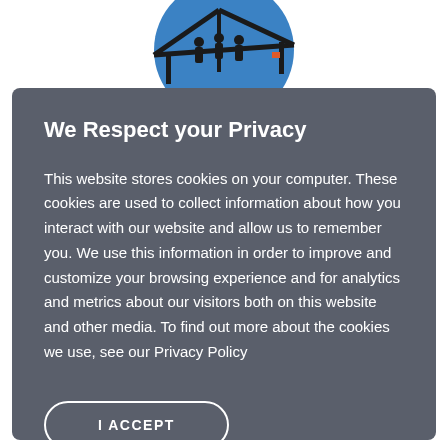[Figure (logo): Blue circle with silhouette of people under a structure, resembling a transit or public services logo]
We Respect your Privacy
This website stores cookies on your computer. These cookies are used to collect information about how you interact with our website and allow us to remember you. We use this information in order to improve and customize your browsing experience and for analytics and metrics about our visitors both on this website and other media. To find out more about the cookies we use, see our Privacy Policy
I ACCEPT